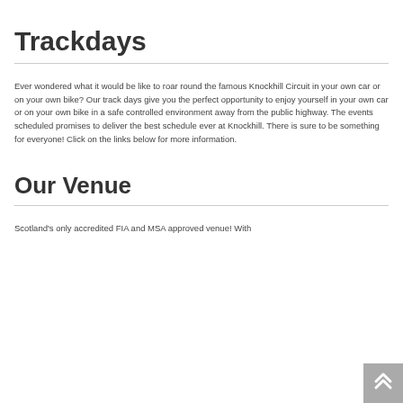Trackdays
Ever wondered what it would be like to roar round the famous Knockhill Circuit in your own car or on your own bike? Our track days give you the perfect opportunity to enjoy yourself in your own car or on your own bike in a safe controlled environment away from the public highway. The events scheduled promises to deliver the best schedule ever at Knockhill. There is sure to be something for everyone! Click on the links below for more information.
Our Venue
Scotland's only accredited FIA and MSA approved venue! With